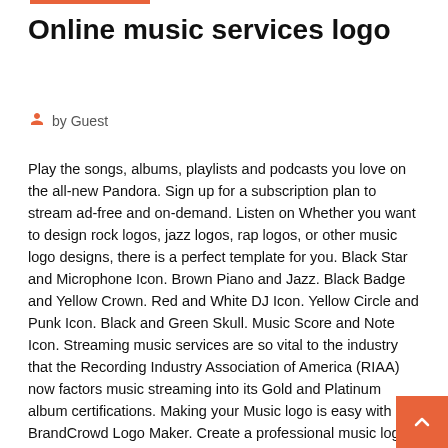Online music services logo
by Guest
Play the songs, albums, playlists and podcasts you love on the all-new Pandora. Sign up for a subscription plan to stream ad-free and on-demand. Listen on Whether you want to design rock logos, jazz logos, rap logos, or other music logo designs, there is a perfect template for you. Black Star and Microphone Icon. Brown Piano and Jazz. Black Badge and Yellow Crown. Red and White DJ Icon. Yellow Circle and Punk Icon. Black and Green Skull. Music Score and Note Icon. Streaming music services are so vital to the industry that the Recording Industry Association of America (RIAA) now factors music streaming into its Gold and Platinum album certifications. Making your Music logo is easy with BrandCrowd Logo Maker. Create a professional music logo in minutes with our free music logo maker. BrandCrowd logo maker is easy to use and allows you full customization to get the music logo you